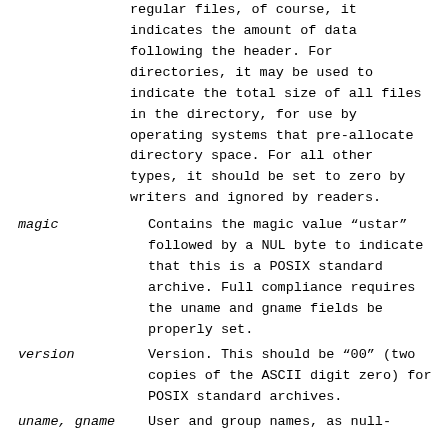regular files, of course, it indicates the amount of data following the header. For directories, it may be used to indicate the total size of all files in the directory, for use by operating systems that pre-allocate directory space. For all other types, it should be set to zero by writers and ignored by readers.
magic — Contains the magic value “ustar” followed by a NUL byte to indicate that this is a POSIX standard archive. Full compliance requires the uname and gname fields be properly set.
version — Version. This should be “00” (two copies of the ASCII digit zero) for POSIX standard archives.
uname, gname — User and group names, as null-